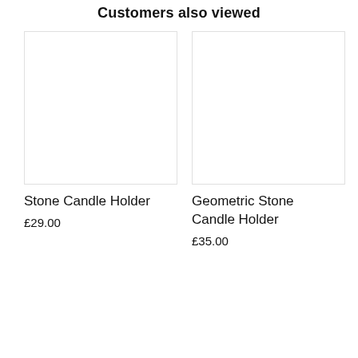Customers also viewed
[Figure (photo): Product image placeholder for Stone Candle Holder]
Stone Candle Holder
£29.00
[Figure (photo): Product image placeholder for Geometric Stone Candle Holder]
Geometric Stone Candle Holder
£35.00